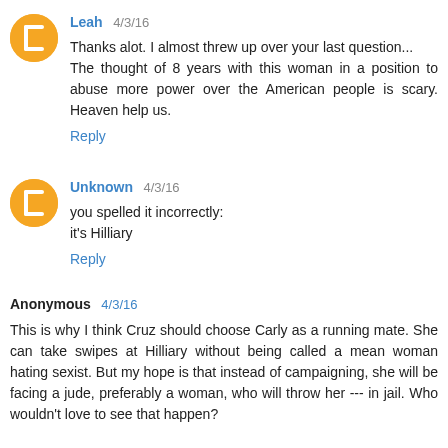Leah 4/3/16
Thanks alot. I almost threw up over your last question... The thought of 8 years with this woman in a position to abuse more power over the American people is scary. Heaven help us.
Reply
Unknown 4/3/16
you spelled it incorrectly:
it's Hilliary
Reply
Anonymous 4/3/16
This is why I think Cruz should choose Carly as a running mate. She can take swipes at Hilliary without being called a mean woman hating sexist. But my hope is that instead of campaigning, she will be facing a jude, preferably a woman, who will throw her --- in jail. Who wouldn't love to see that happen?